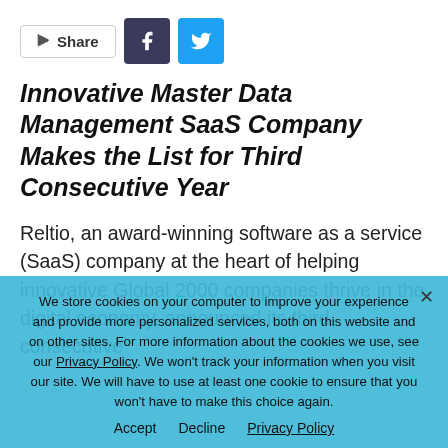[Figure (other): Share bar with Share button, Facebook icon button, and Twitter icon button]
Innovative Master Data Management SaaS Company Makes the List for Third Consecutive Year
Reltio, an award-winning software as a service (SaaS) company at the heart of helping innovative Global 2000 companies thrive in the digital economy, announced its third consecutive
We store cookies on your computer to improve your experience and provide more personalized services, both on this website and on other sites. For more information about the cookies we use, see our Privacy Policy. We won't track your information when you visit our site. We will have to use at least one cookie to ensure that you won't have to make this choice again.
Accept   Decline   Privacy Policy